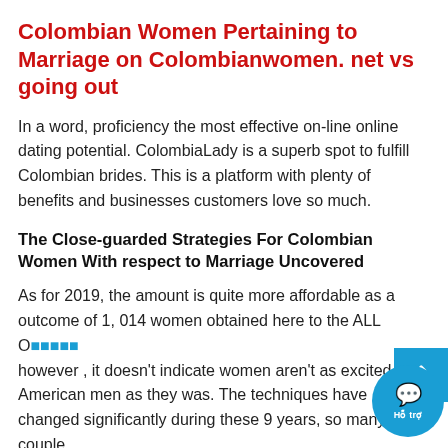Colombian Women Pertaining to Marriage on Colombianwomen. net vs going out
In a word, proficiency the most effective on-line online dating potential. ColombiaLady is a superb spot to fulfill Colombian brides. This is a platform with plenty of benefits and businesses customers love so much.
The Close-guarded Strategies For Colombian Women With respect to Marriage Uncovered
As for 2019, the amount is quite more affordable as a outcome of 1, 014 women obtained here to the ALL O... however , it doesn't indicate women aren't as excited a... American men as they was. The techniques have changed significantly during these 9 years, so many couple... uncover long-distance interactions to be a concern... Speaking of the Colombian wedding brides who hitched American gents whereas already having youngsters, it's 21.